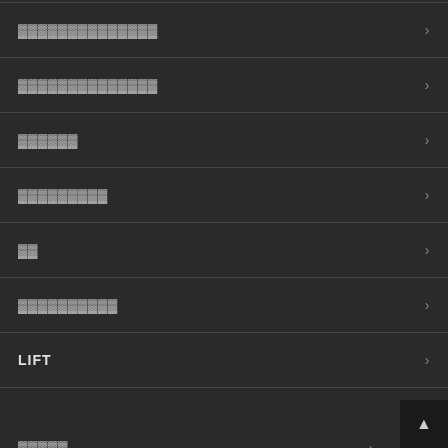▓▓▓▓▓▓▓▓▓▓▓▓▓▓
▓▓▓▓▓▓▓▓▓▓▓▓▓▓
▓▓▓▓▓▓
▓▓▓▓▓▓▓▓▓
▓▓
▓▓▓▓▓▓▓▓▓▓
LIFT
▓▓▓▓▓